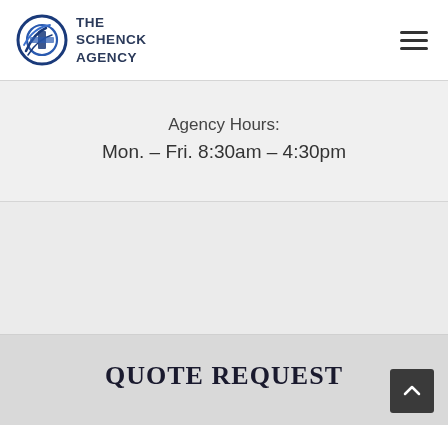THE SCHENCK AGENCY
Agency Hours:
Mon. – Fri. 8:30am – 4:30pm
QUOTE REQUEST